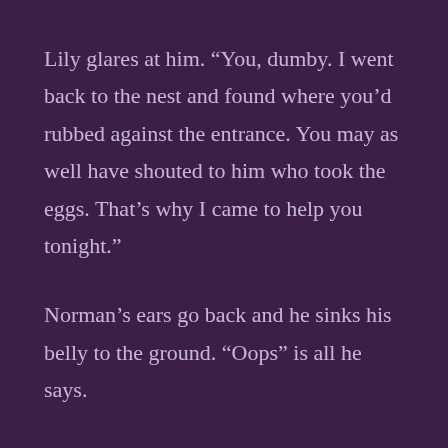Lily glares at him. “You, dumby. I went back to the nest and found where you’d rubbed against the entrance. You may as well have shouted to him who took the eggs. That’s why I came to help you tonight.”
Norman’s ears go back and he sinks his belly to the ground. “Oops” is all he says.